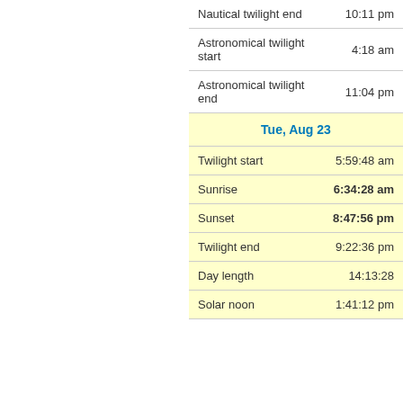| Event | Time |
| --- | --- |
| Nautical twilight end | 10:11 pm |
| Astronomical twilight start | 4:18 am |
| Astronomical twilight end | 11:04 pm |
| Tue, Aug 23 |  |
| Twilight start | 5:59:48 am |
| Sunrise | 6:34:28 am |
| Sunset | 8:47:56 pm |
| Twilight end | 9:22:36 pm |
| Day length | 14:13:28 |
| Solar noon | 1:41:12 pm |